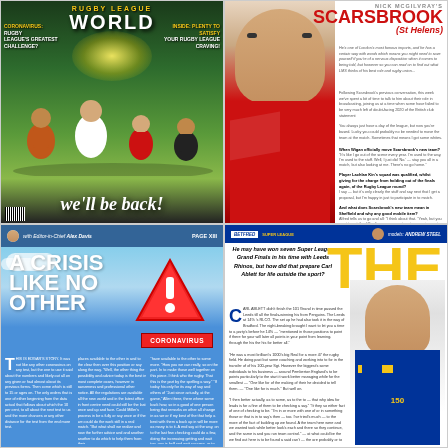[Figure (photo): Rugby League World magazine cover with players running on green pitch, headline 'we'll be back!', coronavirus challenge article teaser]
[Figure (photo): Nick Scarsbrook St Helens interview page with player photo in red jersey and Q&A text]
[Figure (photo): A Crisis Like No Other article page with Editor-in-Chief Alex Davies, blue sky background, warning triangle sign, Coronavirus red sign]
[Figure (photo): Carl Ablett article - He may have won seven Super League Grand Finals in his time with Leeds Rhinos, but how did that prepare Carl Ablett for life outside the sport? With THE header text and Leeds player photo]